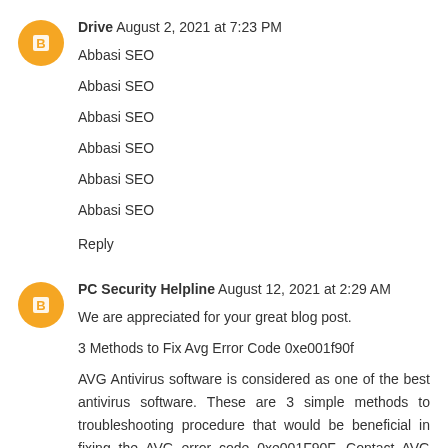Drive  August 2, 2021 at 7:23 PM
Abbasi SEO
Abbasi SEO
Abbasi SEO
Abbasi SEO
Abbasi SEO
Abbasi SEO
Reply
PC Security Helpline  August 12, 2021 at 2:29 AM
We are appreciated for your great blog post.
3 Methods to Fix Avg Error Code 0xe001f90f
AVG Antivirus software is considered as one of the best antivirus software. These are 3 simple methods to troubleshooting procedure that would be beneficial in fixing the AVG error code 0xe001F90F. Contact AVG Customer